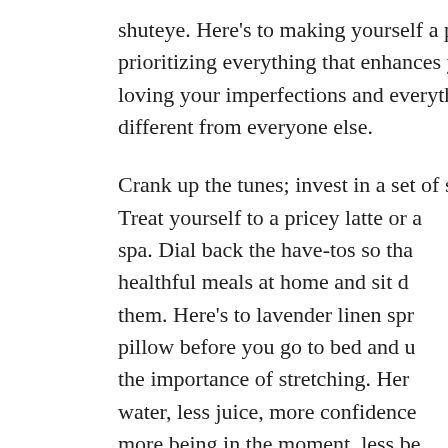shuteye. Here’s to making yourself a priority and prioritizing everything that enhances your mojo. Here’s to loving your imperfections and everything about you that is different from everyone else.
Crank up the tunes; invest in a set of snowshoes. Treat yourself to a pricey latte or a spa. Dial back the have-tos so tha healthful meals at home and sit d them. Here’s to lavender linen spr pillow before you go to bed and u the importance of stretching. Her water, less juice, more confidence more being in the moment, less be And, especially more love, less ha
Here’s to being your own Valentin fan, and your practitioner of self-l even the tiniest acts of caring can
[Figure (other): Subscribe popup overlay with a nature/sunset background image showing mountains and warm golden light. Contains a subscription form with title 'Subscribe fo', subtitle 'Join now for ac and mou', an email input field 'Enter your ema', and a green subscribe button 'S'.]